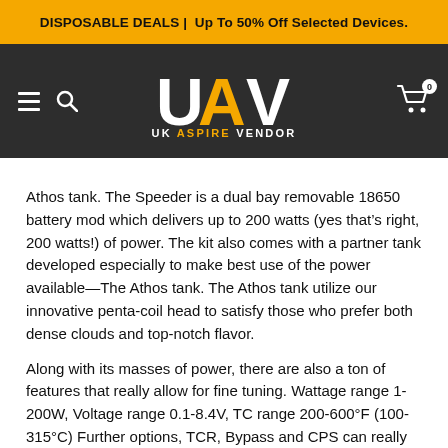DISPOSABLE DEALS | Up To 50% Off Selected Devices.
[Figure (logo): UK Aspire Vendor logo: 'UAV' letters with navigation icons (hamburger menu, search) on left, cart icon on right, all on dark background]
Athos tank. The Speeder is a dual bay removable 18650 battery mod which delivers up to 200 watts (yes that’s right, 200 watts!) of power. The kit also comes with a partner tank developed especially to make best use of the power available—The Athos tank. The Athos tank utilize our innovative penta-coil head to satisfy those who prefer both dense clouds and top-notch flavor.
Along with its masses of power, there are also a ton of features that really allow for fine tuning. Wattage range 1-200W, Voltage range 0.1-8.4V, TC range 200-600°F (100-315°C) Further options, TCR, Bypass and CPS can really nail the